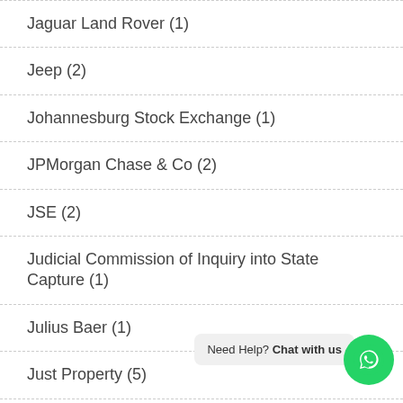Jaguar Land Rover (1)
Jeep (2)
Johannesburg Stock Exchange (1)
JPMorgan Chase & Co (2)
JSE (2)
Judicial Commission of Inquiry into State Capture (1)
Julius Baer (1)
Just Property (5)
Just SA (3)